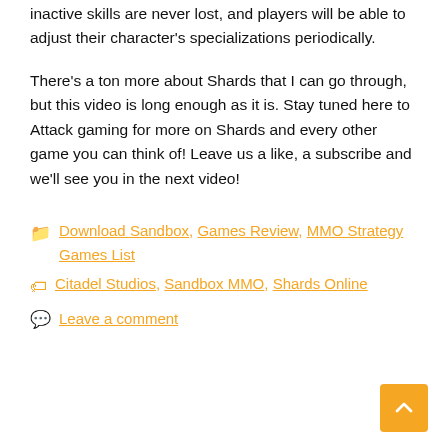inactive skills are never lost, and players will be able to adjust their character's specializations periodically.
There's a ton more about Shards that I can go through, but this video is long enough as it is. Stay tuned here to Attack gaming for more on Shards and every other game you can think of! Leave us a like, a subscribe and we'll see you in the next video!
Categories: Download Sandbox, Games Review, MMO Strategy Games List
Tags: Citadel Studios, Sandbox MMO, Shards Online
Leave a comment